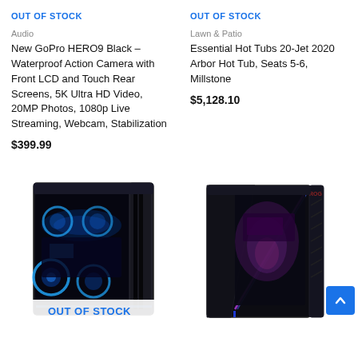OUT OF STOCK
OUT OF STOCK
Audio
New GoPro HERO9 Black – Waterproof Action Camera with Front LCD and Touch Rear Screens, 5K Ultra HD Video, 20MP Photos, 1080p Live Streaming, Webcam, Stabilization
$399.99
Lawn & Patio
Essential Hot Tubs 20-Jet 2020 Arbor Hot Tub, Seats 5-6, Millstone
$5,128.10
[Figure (photo): Gaming PC tower with blue RGB lighting, transparent side panel showing internal components]
OUT OF STOCK
[Figure (photo): ASUS ROG gaming PC tower with purple/pink RGB lighting and angular design]